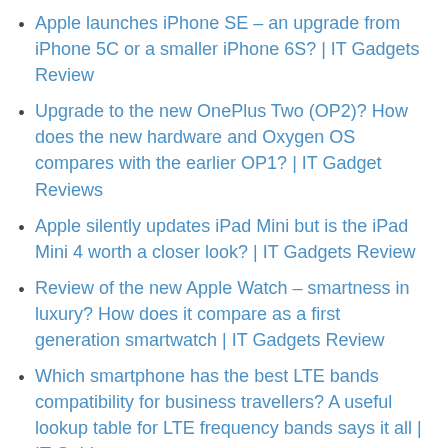Apple launches iPhone SE – an upgrade from iPhone 5C or a smaller iPhone 6S? | IT Gadgets Review
Upgrade to the new OnePlus Two (OP2)? How does the new hardware and Oxygen OS compares with the earlier OP1? | IT Gadget Reviews
Apple silently updates iPad Mini but is the iPad Mini 4 worth a closer look? | IT Gadgets Review
Review of the new Apple Watch – smartness in luxury? How does it compare as a first generation smartwatch | IT Gadgets Review
Which smartphone has the best LTE bands compatibility for business travellers? A useful lookup table for LTE frequency bands says it all | IT Guides
24hr review of the new Oneplus One smartphone – another quality Android built with decent price | IT Gadgets Review